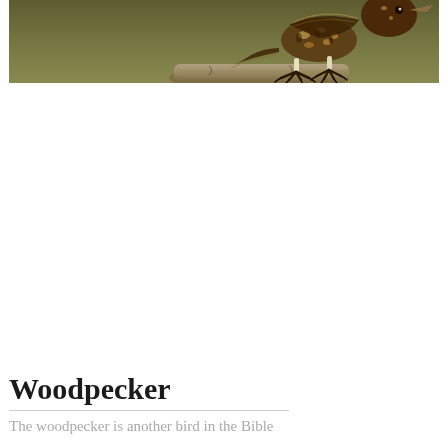[Figure (photo): A woodpecker bird perched on a piece of driftwood or log, photographed against an olive-green background. The bird is shown in detail with brown and black speckled plumage, visible talons gripping the wood, and a pointed beak. The image is cropped showing the lower body and legs of the bird.]
Woodpecker
The woodpecker is another bird in the Bible